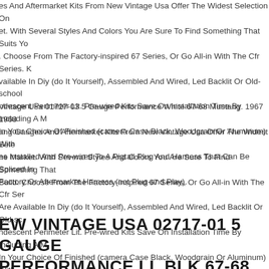es And Aftermarket Kits From New Vintage Usa Offer The Widest Selection On et. With Several Styles And Colors You Are Sure To Find Something That Suits Yo . Choose From The Factory-inspired 67 Series, Or Go All-in With The Cfr Series. K vailable In Diy (do It Yourself), Assembled And Wired, Led Backlit Or Old-school ndescent Perimeter Lit. Pre-wired Kits Save On Installation Time By Including A N In Your Choice Of Finished (camera Case Black, Woodgrain Or Aluminum) With es Installed And Pre-wired To A Pigtail Plug And Harness That Can Be Spliced In Factory Or Aftermarket Harness (not Plug-and Play).
Vintage Usa 01727-03 5 Gauge Performance White 67-68 Mustang. 1967 1968 ang Gauges And Aftermarket Kits From New Vintage Usa Offer The Widest Sele ne Market. With Several Styles And Colors You Are Sure To Find Something That Build. Choose From The Factory-inspired 67 Series, Or Go All-in With The Cfr Ser Are Available In Diy (do It Yourself), Assembled And Wired, Led Backlit Or Old-sc ndescent Perimeter Lit. Pre-wired Kits Save On Installation Time By Including A N In Your Choice Of Finished (camera Case Black, Woodgrain Or Aluminum) With es Installed And Pre-wired To A Pigtail Plug And Harness That Can Be Spliced In Factory Or Aftermarket Harness (not Plug-and Play).
EW VINTAGE USA 02717-01 5 GAUGE PERFORMANCE LL BLK 67-68 MUSTAN